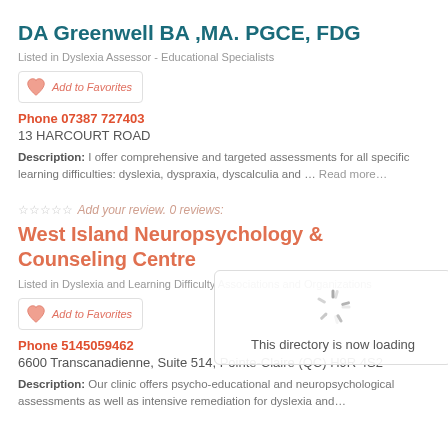DA Greenwell BA ,MA. PGCE, FDG
Listed in Dyslexia Assessor - Educational Specialists
Add to Favorites
Phone 07387 727403
13 HARCOURT ROAD
Description: I offer comprehensive and targeted assessments for all specific learning difficulties: dyslexia, dyspraxia, dyscalculia and … Read more…
☆☆☆☆☆  Add your review. 0 reviews:
West Island Neuropsychology & Counseling Centre
Listed in Dyslexia and Learning Difficulty Associations and Organizations
Add to Favorites
Phone 5145059462
6600 Transcanadienne, Suite 514, Pointe-Claire (QC) H9R 4S2
Description: Our clinic offers psycho-educational and neuropsychological assessments as well as intensive remediation for dyslexia and…